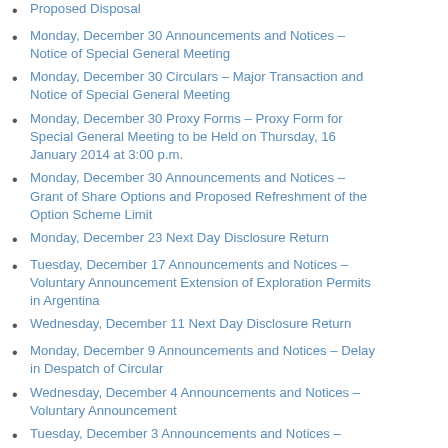Proposed Disposal
Monday, December 30 Announcements and Notices – Notice of Special General Meeting
Monday, December 30 Circulars – Major Transaction and Notice of Special General Meeting
Monday, December 30 Proxy Forms – Proxy Form for Special General Meeting to be Held on Thursday, 16 January 2014 at 3:00 p.m.
Monday, December 30 Announcements and Notices – Grant of Share Options and Proposed Refreshment of the Option Scheme Limit
Monday, December 23 Next Day Disclosure Return
Tuesday, December 17 Announcements and Notices – Voluntary Announcement Extension of Exploration Permits in Argentina
Wednesday, December 11 Next Day Disclosure Return
Monday, December 9 Announcements and Notices – Delay in Despatch of Circular
Wednesday, December 4 Announcements and Notices – Voluntary Announcement
Tuesday, December 3 Announcements and Notices –